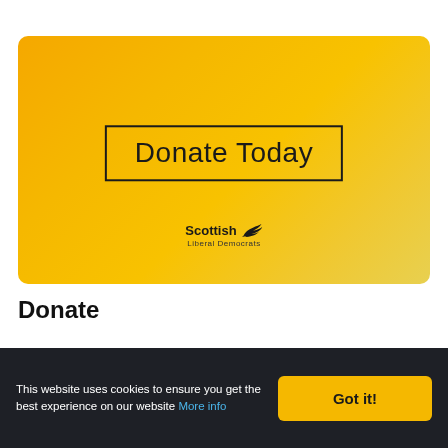[Figure (illustration): Orange-yellow gradient banner for Scottish Liberal Democrats with 'Donate Today' text in a bordered box and the Scottish Liberal Democrats logo at the bottom]
Donate
This website uses cookies to ensure you get the best experience on our website More info